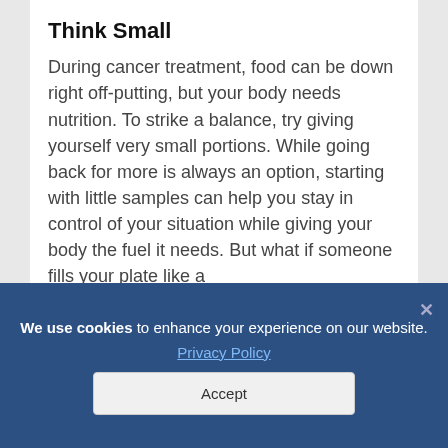Think Small
During cancer treatment, food can be down right off-putting, but your body needs nutrition. To strike a balance, try giving yourself very small portions. While going back for more is always an option, starting with little samples can help you stay in control of your situation while giving your body the fuel it needs. But what if someone fills your plate like a
We use cookies to enhance your experience on our website. Privacy Policy Accept